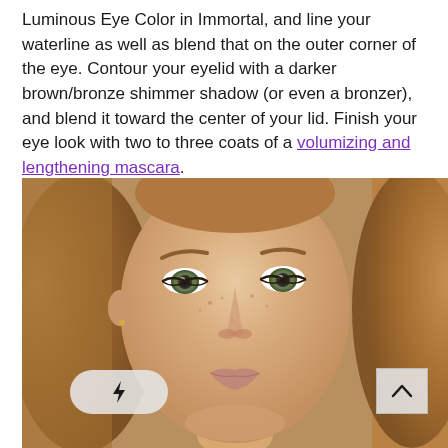Luminous Eye Color in Immortal, and line your waterline as well as blend that on the outer corner of the eye. Contour your eyelid with a darker brown/bronze shimmer shadow (or even a bronzer), and blend it toward the center of your lid. Finish your eye look with two to three coats of a volumizing and lengthening mascara.
[Figure (photo): Close-up portrait of a young woman with green eyes, freckles, and auburn/light brown hair. Natural makeup look.]